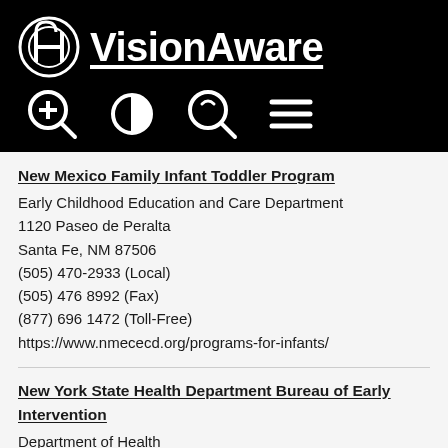VisionAware
New Mexico Family Infant Toddler Program
Early Childhood Education and Care Department
1120 Paseo de Peralta
Santa Fe, NM 87506
(505) 470-2933 (Local)
(505) 476 8992 (Fax)
(877) 696 1472 (Toll-Free)
https://www.nmececd.org/programs-for-infants/
New York State Health Department Bureau of Early Intervention
Department of Health
Empire State Plaza